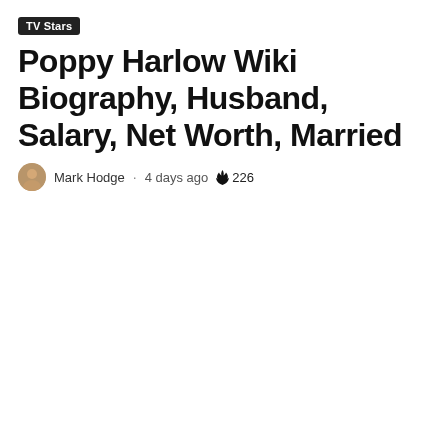TV Stars
Poppy Harlow Wiki Biography, Husband, Salary, Net Worth, Married
Mark Hodge · 4 days ago 🔥 226
[Figure (photo): Poppy Harlow, blonde female CNN anchor, seated in front of CNN studio screens with CNN logo visible in lower left corner]